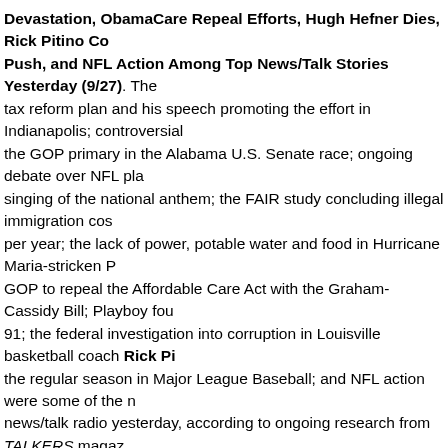Devastation, ObamaCare Repeal Efforts, Hugh Hefner Dies, Rick Pitino Co... Push, and NFL Action Among Top News/Talk Stories Yesterday (9/27). The tax reform plan and his speech promoting the effort in Indianapolis; controversial the GOP primary in the Alabama U.S. Senate race; ongoing debate over NFL pla singing of the national anthem; the FAIR study concluding illegal immigration cos per year; the lack of power, potable water and food in Hurricane Maria-stricken P GOP to repeal the Affordable Care Act with the Graham-Cassidy Bill; Playboy fou 91; the federal investigation into corruption in Louisville basketball coach Rick Pi the regular season in Major League Baseball; and NFL action were some of the n news/talk radio yesterday, according to ongoing research from TALKERS magaz